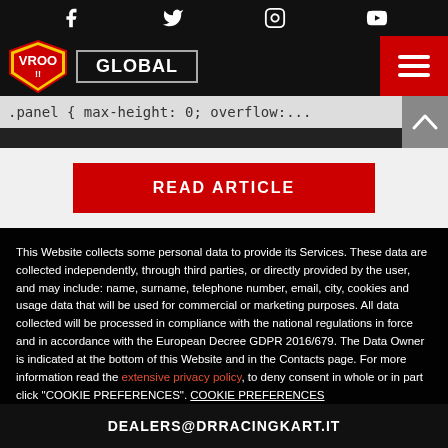Social media icons: Facebook, Twitter, Instagram, YouTube
VROO logo | GLOBAL | hamburger menu
.panel { max-height: 0; overflow:...
READ ARTICLE
This Website collects some personal data to provide its Services. These data are collected independently, through third parties, or directly provided by the user, and may include: name, surname, telephone number, email, city, cookies and usage data that will be used for commercial or marketing purposes. All data collected will be processed in compliance with the national regulations in force and in accordance with the European Decree GDPR 2016/679. The Data Owner is indicated at the bottom of this Website and in the Contacts page. For more information read the extensive privacy policy, to deny consent in whole or in part click "COOKIE PREFERENCES". COOKIE PREFERENCES
AGREE
No, thanks
DEALERS@DRRACINGKART.IT